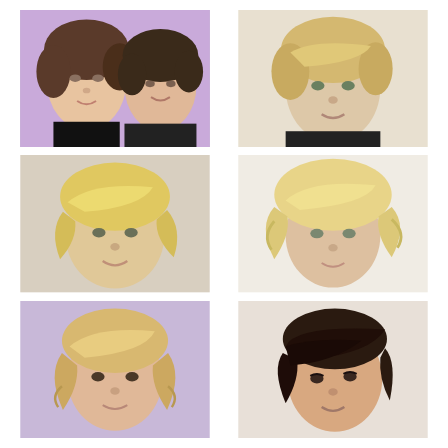[Figure (photo): Woman with short dark layered hair, two subjects side by side on purple background]
[Figure (photo): Woman with short blonde pixie cut, side-swept bangs, black top]
[Figure (photo): Woman with short blonde layered hair, side-swept bangs]
[Figure (photo): Woman with short shaggy blonde hair, wispy layers]
[Figure (photo): Woman with short choppy blonde bob, messy texture, purple background]
[Figure (photo): Woman with short dark asymmetric pixie cut, side-swept bangs]